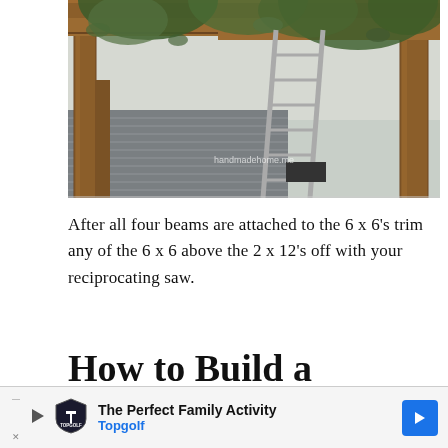[Figure (photo): Construction photo showing a pergola being built with wooden 6x6 posts and 2x12 beams. A metal ladder is visible in the center, surrounded by tree branches with leaves. A house with gray siding is visible in the background. A watermark reads 'handmadehome.me'.]
After all four beams are attached to the 6 x 6's trim any of the 6 x 6 above the 2 x 12's off with your reciprocating saw.
How to Build a pergola
[Figure (other): Advertisement banner for Topgolf. Shows Topgolf shield logo, text 'The Perfect Family Activity' and 'Topgolf' in blue, with a blue navigation arrow button on the right. Play button and X close button visible.]